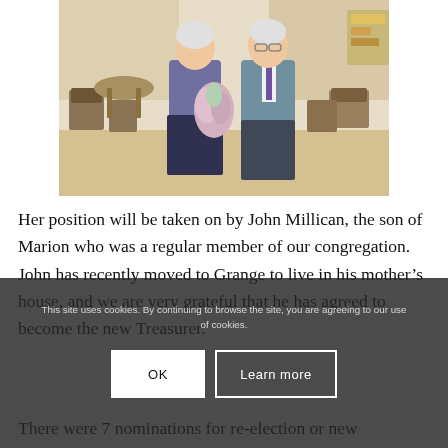[Figure (photo): Two elderly people standing in a church hall; a woman on the left in a patterned jacket holding a bouquet of flowers, and a man on the right in a suit and tie.]
Her position will be taken on by John Millican, the son of Marion who was a regular member of our congregation. John has recently moved to Grange to live in his mother's house, and we are very grateful that he has agreed to become the new Treasurer.
There were 7 nominations for re-election or new
This site uses cookies. By continuing to browse the site, you are agreeing to our use of cookies.
OK
Learn more